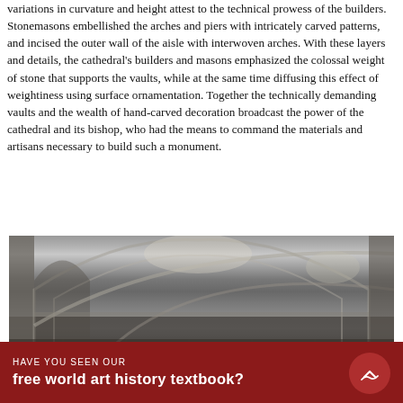variations in curvature and height attest to the technical prowess of the builders. Stonemasons embellished the arches and piers with intricately carved patterns, and incised the outer wall of the aisle with interwoven arches. With these layers and details, the cathedral's builders and masons emphasized the colossal weight of stone that supports the vaults, while at the same time diffusing this effect of weightiness using surface ornamentation. Together the technically demanding vaults and the wealth of hand-carved decoration broadcast the power of the cathedral and its bishop, who had the means to command the materials and artisans necessary to build such a monument.
[Figure (photo): Interior photograph of a cathedral showing stone arches, piers, and vaulted ceilings with intricately carved Norman/Romanesque architectural details]
HAVE YOU SEEN OUR
free world art history textbook?